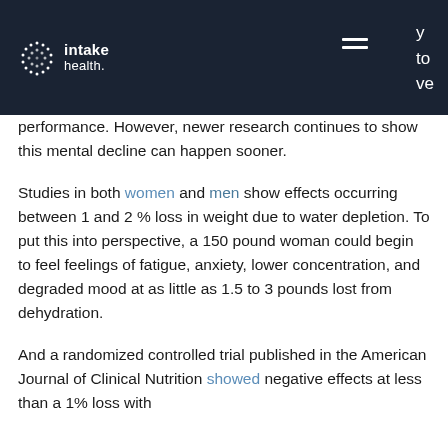intake health. [navigation menu] y to ve
performance. However, newer research continues to show this mental decline can happen sooner.
Studies in both women and men show effects occurring between 1 and 2 % loss in weight due to water depletion. To put this into perspective, a 150 pound woman could begin to feel feelings of fatigue, anxiety, lower concentration, and degraded mood at as little as 1.5 to 3 pounds lost from dehydration.
And a randomized controlled trial published in the American Journal of Clinical Nutrition showed negative effects at less than a 1% loss with